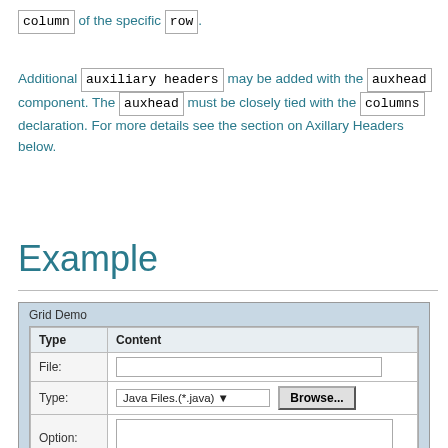column of the specific row.
Additional auxiliary headers may be added with the auxhead component. The auxhead must be closely tied with the columns declaration. For more details see the section on Axillary Headers below.
Example
[Figure (screenshot): Screenshot of a Grid Demo panel showing a table with Type and Content columns. Rows include File (text input), Type (Java Files dropdown with Browse button), and Option (textarea).]